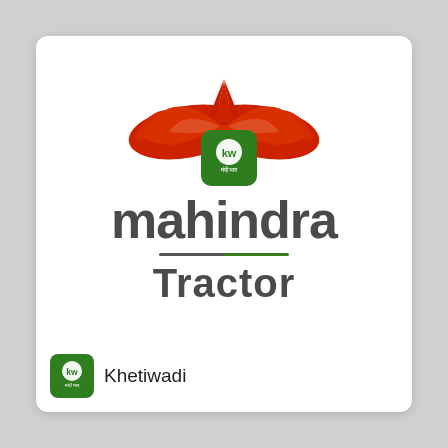[Figure (logo): Mahindra logo: red swoosh/arrow brand mark at top, overlaid with Khetiwadi green KW app icon badge. Below is 'Mahindra' in bold dark gray text, a horizontal divider line (dark gray to green), and 'Tractor' in bold dark gray text.]
[Figure (logo): Khetiwadi app icon: green rounded square with 'kw' in white circle and Hindi text 'मंदी भाव' below]
Khetiwadi